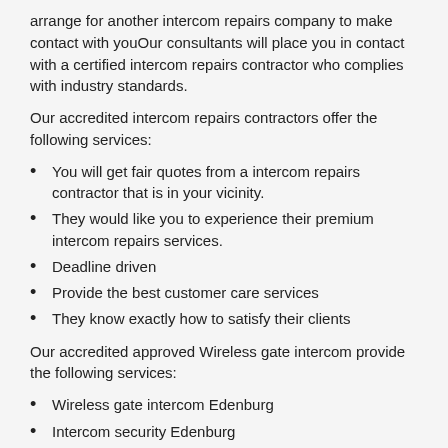arrange for another intercom repairs company to make contact with youOur consultants will place you in contact with a certified intercom repairs contractor who complies with industry standards.
Our accredited intercom repairs contractors offer the following services:
You will get fair quotes from a intercom repairs contractor that is in your vicinity.
They would like you to experience their premium intercom repairs services.
Deadline driven
Provide the best customer care services
They know exactly how to satisfy their clients
Our accredited approved Wireless gate intercom provide the following services:
Wireless gate intercom Edenburg
Intercom security Edenburg
Ip intercom systems Edenburg
Commax intercom Edenburg
Wireless intercom systems for business Edenburg
Kocom intercom Edenburg
Intercom repairs Edenburg
Intercom installations Edenburg
Door intercom systems for home Edenburg
Business intercom system Edenburg
Intercom installer Edenburg